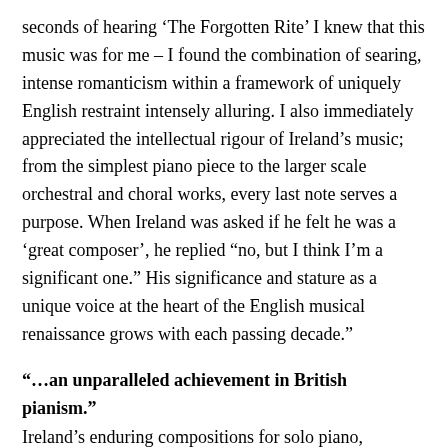seconds of hearing ‘The Forgotten Rite’ I knew that this music was for me – I found the combination of searing, intense romanticism within a framework of uniquely English restraint intensely alluring. I also immediately appreciated the intellectual rigour of Ireland’s music; from the simplest piano piece to the larger scale orchestral and choral works, every last note serves a purpose. When Ireland was asked if he felt he was a ‘great composer’, he replied “no, but I think I’m a significant one.” His significance and stature as a unique voice at the heart of the English musical renaissance grows with each passing decade.”
“…an unparalleled achievement in British pianism.” Ireland’s enduring compositions for solo piano, including Sarnia and London Pieces, and the emotionally-charged Sonata for Cello and Piano have been enjoying particular popularity with artists and audiences alike. Major orchestral performances of the intensely personal Piano Concerto – once a regular at the BBC Proms – have also been taking place internationally, given by some of the